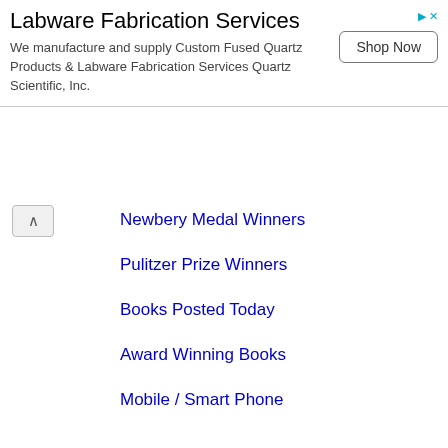[Figure (other): Advertisement banner for Labware Fabrication Services with Shop Now button]
Newbery Medal Winners
Pulitzer Prize Winners
Books Posted Today
Award Winning Books
Mobile / Smart Phone
Help Center
How to Swap Books
Ask the Librarian
Live Help
Browser Test
Feature List
Amazon Search
Community
Invite Friends
Widgets & APIs
Feeds RSS/XML
Box-O-Books